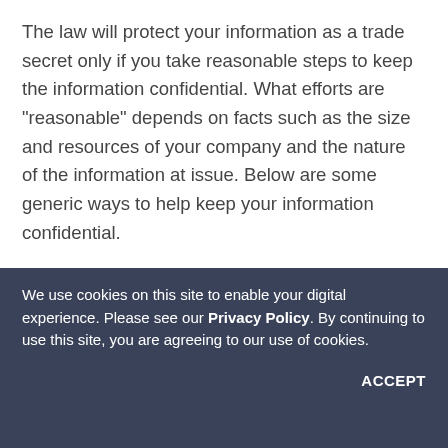The law will protect your information as a trade secret only if you take reasonable steps to keep the information confidential. What efforts are "reasonable" depends on facts such as the size and resources of your company and the nature of the information at issue. Below are some generic ways to help keep your information confidential.
Physical Security
Restrict access to confidential information to employees who need it. Shred confidential documents after use or place them in a secured location. Limit access to your facility and teach employees not to leave this information unattended. Consider additional protective measures such as ID cards,
We use cookies on this site to enable your digital experience. Please see our Privacy Policy. By continuing to use this site, you are agreeing to our use of cookies.